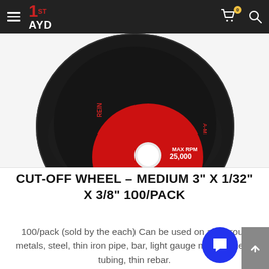1ST AYD — navigation bar with hamburger menu, logo, cart (0), search
[Figure (photo): Close-up photo of a black cut-off wheel (abrasive disc) with a red center label reading MAX RPM 25,000. Warning text on label: Comply with ANSI and OSHA rules. Use safety goggles, machine guard, and protective equipment.]
CUT-OFF WHEEL – MEDIUM 3" X 1/32" X 3/8" 100/PACK
100/pack (sold by the each) Can be used on all ferrous metals, steel, thin iron pipe, bar, light gauge metals, metal tubing, thin rebar.